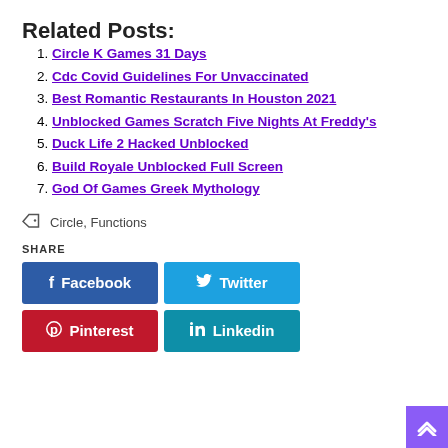Related Posts:
Circle K Games 31 Days
Cdc Covid Guidelines For Unvaccinated
Best Romantic Restaurants In Houston 2021
Unblocked Games Scratch Five Nights At Freddy's
Duck Life 2 Hacked Unblocked
Build Royale Unblocked Full Screen
God Of Games Greek Mythology
Circle, Functions
SHARE
Facebook
Twitter
Pinterest
Linkedin